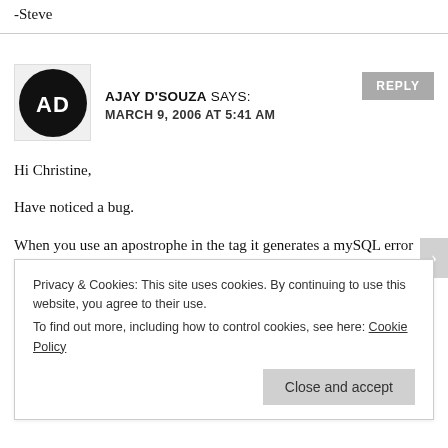-Steve
AJAY D'SOUZA SAYS:
MARCH 9, 2006 AT 5:41 AM
Hi Christine,

Have noticed a bug.

When you use an apostrophe in the tag it generates a mySQL error regarding about having quotes. (You have error in mySQL syntax error)
Privacy & Cookies: This site uses cookies. By continuing to use this website, you agree to their use.
To find out more, including how to control cookies, see here: Cookie Policy
Close and accept